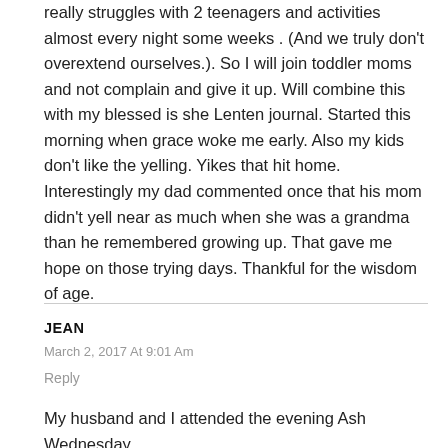really struggles with 2 teenagers and activities almost every night some weeks . (And we truly don't overextend ourselves.). So I will join toddler moms and not complain and give it up. Will combine this with my blessed is she Lenten journal. Started this morning when grace woke me early. Also my kids don't like the yelling. Yikes that hit home. Interestingly my dad commented once that his mom didn't yell near as much when she was a grandma than he remembered growing up. That gave me hope on those trying days. Thankful for the wisdom of age.
JEAN
March 2, 2017 At 9:01 Am
Reply
My husband and I attended the evening Ash Wednesday